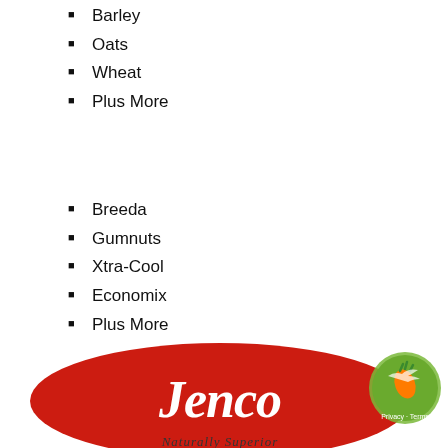Barley
Oats
Wheat
Plus More
Breeda
Gumnuts
Xtra-Cool
Economix
Plus More
[Figure (logo): Jenco Naturally Superior logo — red oval with white italic Jenco text and 'Naturally Superior' tagline below, with a small green circular badge on the right]